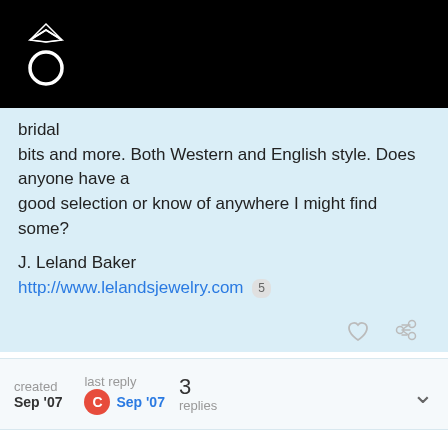[Figure (logo): Diamond ring logo on black background header bar]
bridal
bits and more. Both Western and English style. Does anyone have a
good selection or know of anywhere I might find some?

J. Leland Baker
http://www.lelandsjewelry.com 5
| created | last reply |  |  |
| --- | --- | --- | --- |
| Sep '07 | Sep '07 | 3 replies |  |
M_Mersky
Sep '07
You can try Paradise Wax Patterns or else there are many of us who